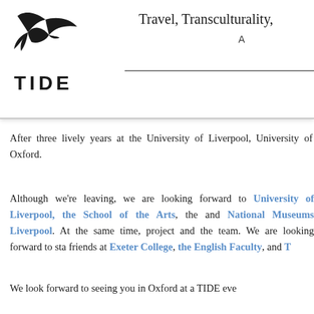Travel, Transculturality, A...
[Figure (logo): TIDE project logo — a stylized bird/seagull silhouette above the text TIDE]
After three lively years at the University of Liverpool, [TIDE moves to] University of Oxford.
Although we're leaving, we are looking forward to [continuing collaboration with] University of Liverpool, the School of the Arts, the [departments] and National Museums Liverpool. At the same time, [we are excited for the] project and the team. We are looking forward to sta[ying in touch with] friends at Exeter College, the English Faculty, and T[...]
We look forward to seeing you in Oxford at a TIDE eve[nt soon].